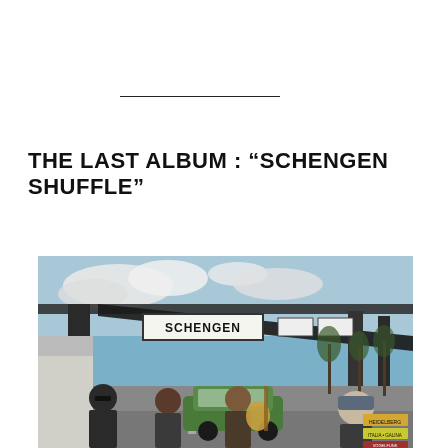THE LAST ALBUM : “SCHENGEN SHUFFLE”
[Figure (photo): Album cover photograph showing a border crossing checkpoint with a large sign reading 'SCHENGEN'. Several band members are visible in the foreground near a green car, with a blue sky and trees in the background.]